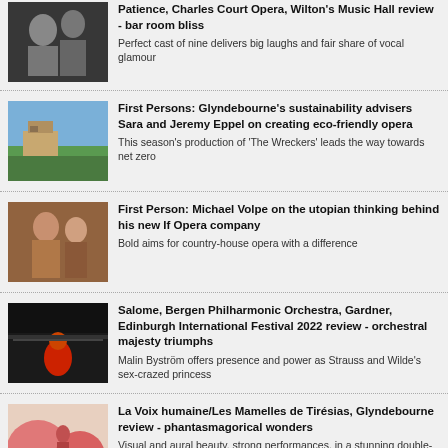Patience, Charles Court Opera, Wilton's Music Hall review - bar room bliss. Perfect cast of nine delivers big laughs and fair share of vocal glamour
First Persons: Glyndebourne's sustainability advisers Sara and Jeremy Eppel on creating eco-friendly opera. This season's production of 'The Wreckers' leads the way towards net zero
First Person: Michael Volpe on the utopian thinking behind his new If Opera company. Bold aims for country-house opera with a difference
Salome, Bergen Philharmonic Orchestra, Gardner, Edinburgh International Festival 2022 review - orchestral majesty triumphs. Malin Byström offers presence and power as Strauss and Wilde's sex-crazed princess
La Voix humaine/Les Mamelles de Tirésias, Glyndebourne review - phantasmagorical wonders. Visual and aural beauty, strong performances, in a stunning double-bill from Laurent Pelly